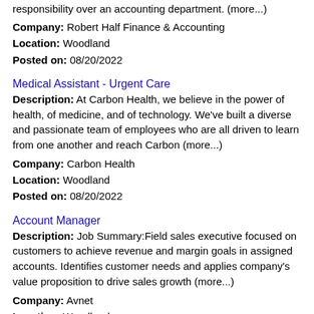responsibility over an accounting department. (more...)
Company: Robert Half Finance & Accounting
Location: Woodland
Posted on: 08/20/2022
Medical Assistant - Urgent Care
Description: At Carbon Health, we believe in the power of health, of medicine, and of technology. We've built a diverse and passionate team of employees who are all driven to learn from one another and reach Carbon (more...)
Company: Carbon Health
Location: Woodland
Posted on: 08/20/2022
Account Manager
Description: Job Summary:Field sales executive focused on customers to achieve revenue and margin goals in assigned accounts. Identifies customer needs and applies company's value proposition to drive sales growth (more...)
Company: Avnet
Location: Woodland
Posted on: 08/20/2022
Wax Specialist - Licensed Esthetician/Cosmetologist